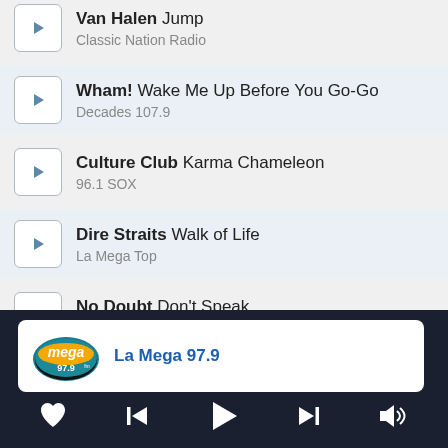Van Halen Jump — Classic Nation Radio
Wham! Wake Me Up Before You Go-Go — Decades 107.9
Culture Club Karma Chameleon — 96.1 SOX
Dire Straits Walk of Life — La Mega Top
No Doubt Don't Speak — Mix 99.3
[Figure (logo): La Mega 97.9 radio station logo — oval shape with yellow/orange and teal/blue colors]
La Mega 97.9